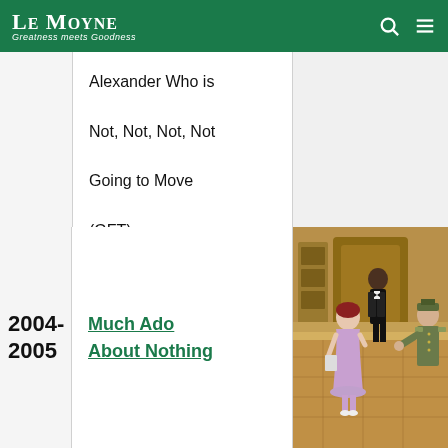Le Moyne — Greatness meets Goodness
| Year | Production | Image |
| --- | --- | --- |
|  | Alexander Who is Not, Not, Not, Not Going to Move (GFT) |  |
| 2004-2005 | Much Ado About Nothing | [photo] |
[Figure (photo): Theater production photo showing actors on stage in a colorful set — a woman in a lavender dress interacts with a man in military uniform, and another figure in a tuxedo stands in background.]